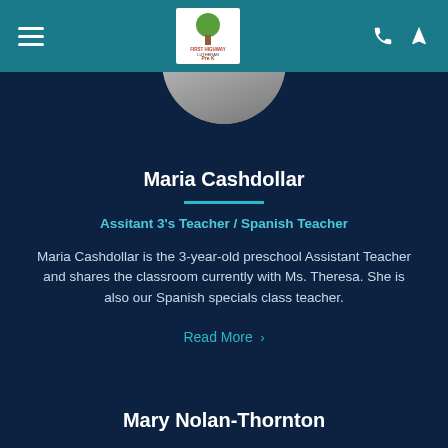First Highway Lutheran Park — navigation bar with hamburger menu, logo, phone and location icons
[Figure (photo): Circular cropped profile photo of Maria Cashdollar, partially visible at top of page]
Maria Cashdollar
Assitant 3's Teacher / Spanish Teacher
Maria Cashdollar is the 3-year-old preschool Assistant Teacher and shares the classroom currently with Ms. Theresa. She is also our Spanish specials class teacher.
Read More >
Mary Nolan-Thornton